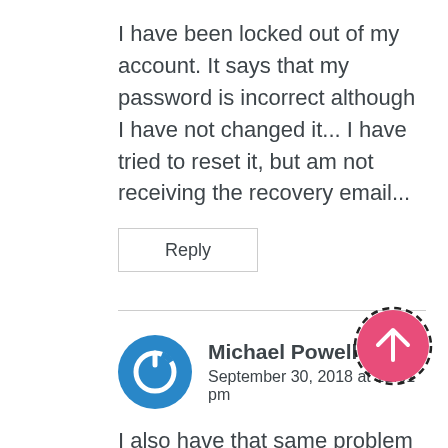I have been locked out of my account. It says that my password is incorrect although I have not changed it... I have tried to reset it, but am not receiving the recovery email...
Reply
Michael Powell says
September 30, 2018 at 11:01 pm
I also have that same problem but I don't know what the phone number is